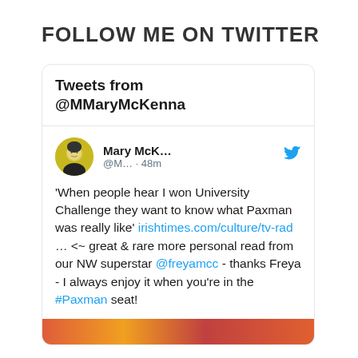FOLLOW ME ON TWITTER
[Figure (screenshot): Twitter widget showing 'Tweets from @MMaryMcKenna' with a tweet by Mary McK... (@M... · 48m) containing text about University Challenge and Paxman, with a link to irishtimes.com/culture/tv-rad, mentioning @freyamcc and #Paxman.]